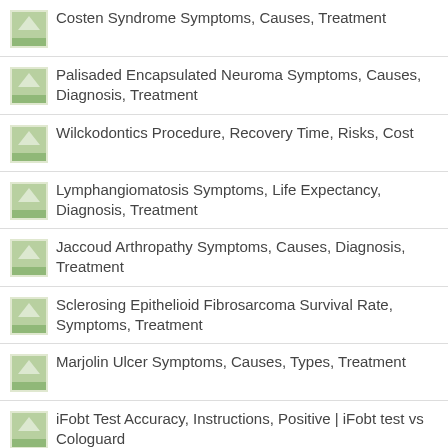Costen Syndrome Symptoms, Causes, Treatment
Palisaded Encapsulated Neuroma Symptoms, Causes, Diagnosis, Treatment
Wilckodontics Procedure, Recovery Time, Risks, Cost
Lymphangiomatosis Symptoms, Life Expectancy, Diagnosis, Treatment
Jaccoud Arthropathy Symptoms, Causes, Diagnosis, Treatment
Sclerosing Epithelioid Fibrosarcoma Survival Rate, Symptoms, Treatment
Marjolin Ulcer Symptoms, Causes, Types, Treatment
iFobt Test Accuracy, Instructions, Positive | iFobt test vs Cologuard
VISITORS